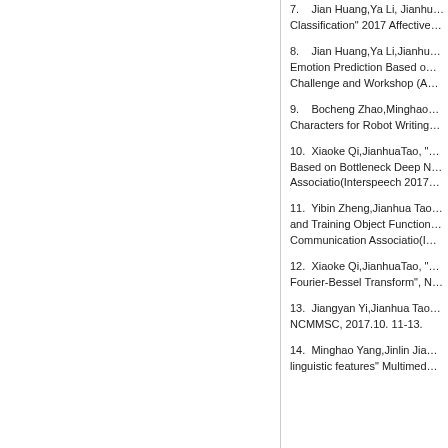7.   Jian Huang,Ya Li, Jianhua... Classification" 2017 Affective...
8.   Jian Huang,Ya Li,Jianhu... Emotion Prediction Based o... Challenge and Workshop (A...
9.   Bocheng Zhao,Minghao... Characters for Robot Writing...
10.  Xiaoke Qi,JianhuaTao, "... Based on Bottleneck Deep N... Associatio(Interspeech 2017...
11.  Yibin Zheng,Jianhua Tao... and Training Object Function... Communication Associatio(I...
12.  Xiaoke Qi,JianhuaTao, "... Fourier-Bessel Transform", N...
13.  Jiangyan Yi,Jianhua Tao... NCMMSC, 2017.10. 11-13.
14.  Minghao Yang,Jinlin Jia... linguistic features" Multimed...